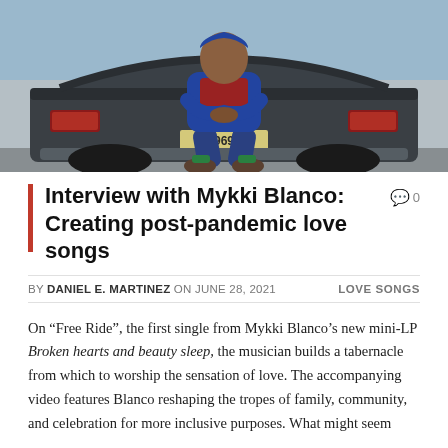[Figure (photo): A person sitting on the back bumper of a classic car with the trunk open, in a garage or parking area. The person is wearing a blue jacket and jeans.]
Interview with Mykki Blanco: Creating post-pandemic love songs
0
BY DANIEL E. MARTINEZ ON JUNE 28, 2021    LOVE SONGS
On “Free Ride”, the first single from Mykki Blanco’s new mini-LP Broken hearts and beauty sleep, the musician builds a tabernacle from which to worship the sensation of love. The accompanying video features Blanco reshaping the tropes of family, community, and celebration for more inclusive purposes. What might seem